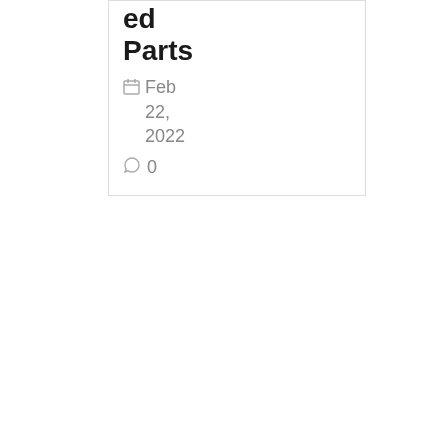ed Parts
Feb 22, 2022
0
[Figure (photo): Group photo of employees standing in a warehouse with orange metal shelving racks in the background]
LinkedIn News & Social
Direct Med Parts & Service Acqui...